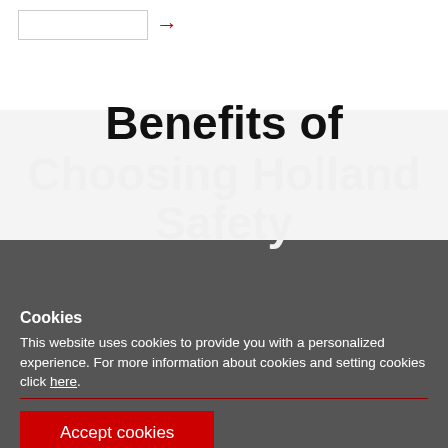[Figure (other): Search input box with a red arrow button on the right, on a white background]
Benefits of Choosing Holland Safety
Cookies
This website uses cookies to provide you with a personalized experience. For more information about cookies and setting cookies click here.
Accept cookies
Experienced Professional Consultants